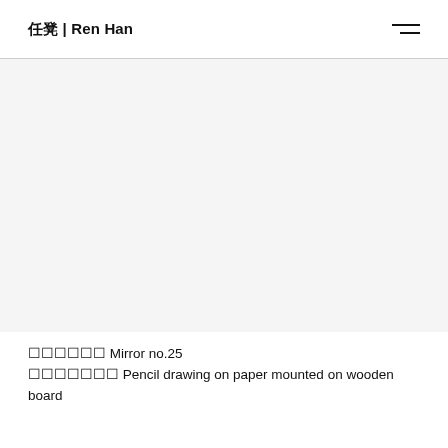任 | Ren Han
[Figure (photo): Large blank/white image area representing an artwork — Mirror no.25, pencil drawing on paper mounted on wooden board]
鏡の粒子の Mirror no.25
鉛筆、紙、木板 Pencil drawing on paper mounted on wooden board